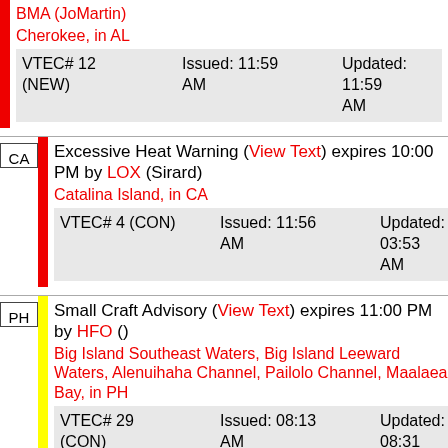BMA (JoMartin) Cherokee, in AL VTEC# 12 (NEW) Issued: 11:59 AM Updated: 11:59 AM
Excessive Heat Warning (View Text) expires 10:00 PM by LOX (Sirard) Catalina Island, in CA VTEC# 4 (CON) Issued: 11:56 AM Updated: 03:53 AM
Small Craft Advisory (View Text) expires 11:00 PM by HFO () Big Island Southeast Waters, Big Island Leeward Waters, Alenuihaha Channel, Pailolo Channel, Maalaea Bay, in PH VTEC# 29 (CON) Issued: 08:13 AM Updated: 08:31 PM